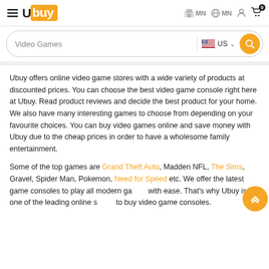Ubuy — Video Games — MN — MN — Cart (0)
Video Games | US
Ubuy offers online video game stores with a wide variety of products at discounted prices. You can choose the best video game console right here at Ubuy. Read product reviews and decide the best product for your home. We also have many interesting games to choose from depending on your favourite choices. You can buy video games online and save money with Ubuy due to the cheap prices in order to have a wholesome family entertainment.
Some of the top games are Grand Theft Auto, Madden NFL, The Sims, Gravel, Spider Man, Pokemon, Need for Speed etc. We offer the latest game consoles to play all modern games with ease. That's why Ubuy is one of the leading online stores to buy video game consoles.